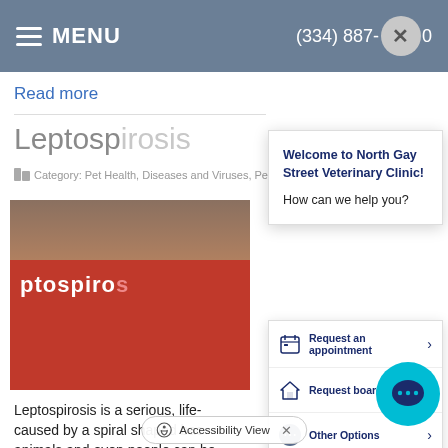MENU  (334) 887-...0
Read more
Leptospirosis
Category: Pet Health, Diseases and Viruses, Pet Health
Welcome to North Gay Street Veterinary Clinic!
How can we help you?
[Figure (screenshot): Chat popup with clinic welcome message and request appointment, request boarding, other options buttons, and leptospirosis article image]
Leptospirosis is a serious, life-threatening disease caused by a spiral shaped bacteria. Both animals and even people can be infected through exposure to urine, bite wounds, ingestion of infected flesh, or contact with contaminated soil, water and even bedding. Certai...